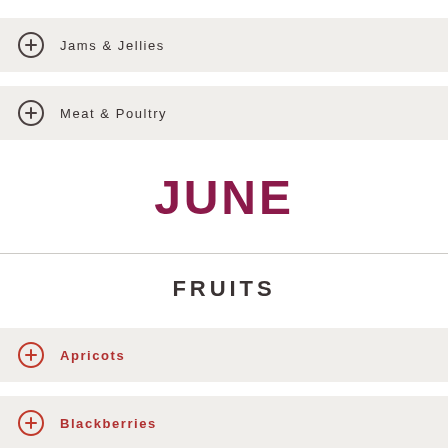Jams & Jellies
Meat & Poultry
JUNE
FRUITS
Apricots
Blackberries